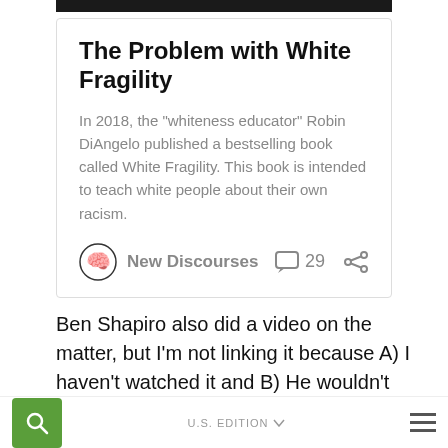[Figure (screenshot): Card embed showing article titled 'The Problem with White Fragility' from New Discourses, with description text, brain logo, comment count 29, and share icon]
Ben Shapiro also did a video on the matter, but I'm not linking it because A) I haven't watched it and B) He wouldn't be taken seriously by many
Christian writers:
U.S. EDITION